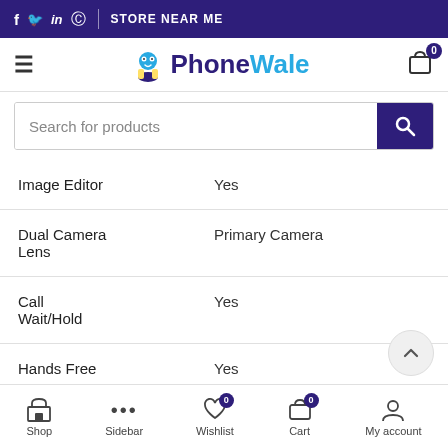f  tw  in  (whatsapp)  |  STORE NEAR ME
[Figure (logo): PhoneWale logo with mascot character]
Search for products
| Feature | Value |
| --- | --- |
| Image Editor | Yes |
| Dual Camera Lens | Primary Camera |
| Call Wait/Hold | Yes |
| Hands Free | Yes |
Shop  Sidebar  Wishlist 0  Cart 0  My account